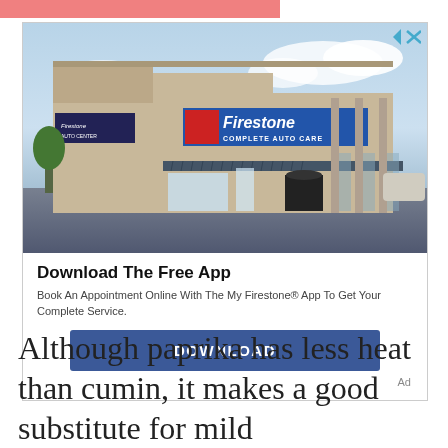[Figure (photo): Advertisement for Firestone Complete Auto Care app. Shows a photo of a Firestone store exterior with the text 'Download The Free App', 'Book An Appointment Online With The My Firestone® App To Get Your Complete Service.', and a blue DOWNLOAD button. Marked as 'Ad'.]
Although paprika has less heat than cumin, it makes a good substitute for mild